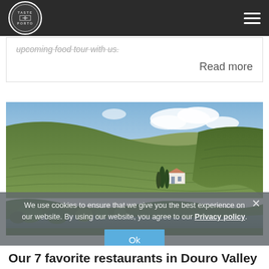Taste Porto logo and hamburger menu
upcoming food tour with us.
Read more
[Figure (photo): Lush green terraced vineyard hillsides in Douro Valley, Portugal, with a white estate building, cypress trees, and river visible in the foreground under a partly cloudy sky]
We use cookies to ensure that we give you the best experience on our website. By using our website, you agree to our Privacy policy.
Our 7 favorite restaurants in Douro Valley